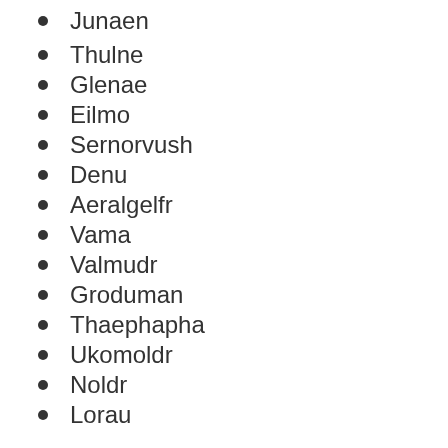Junaen
Thulne
Glenae
Eilmo
Sernorvush
Denu
Aeralgelfr
Vama
Valmudr
Groduman
Thaephapha
Ukomoldr
Noldr
Lorau